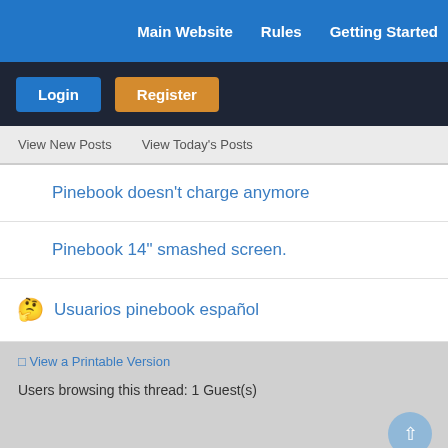Main Website   Rules   Getting Started
Login   Register
View New Posts   View Today's Posts
Pinebook doesn't charge anymore
Pinebook 14" smashed screen.
Usuarios pinebook español
View a Printable Version
Users browsing this thread: 1 Guest(s)
About Us